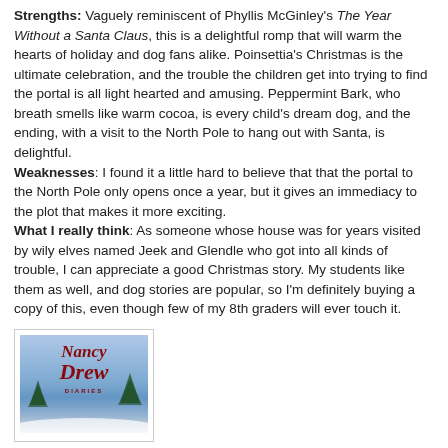Strengths: Vaguely reminiscent of Phyllis McGinley's The Year Without a Santa Claus, this is a delightful romp that will warm the hearts of holiday and dog fans alike. Poinsettia's Christmas is the ultimate celebration, and the trouble the children get into trying to find the portal is all light hearted and amusing. Peppermint Bark, who breath smells like warm cocoa, is every child's dream dog, and the ending, with a visit to the North Pole to hang out with Santa, is delightful. Weaknesses: I found it a little hard to believe that that the portal to the North Pole only opens once a year, but it gives an immediacy to the plot that makes it more exciting. What I really think: As someone whose house was for years visited by wily elves named Jeek and Glendle who got into all kinds of trouble, I can appreciate a good Christmas story. My students like them as well, and dog stories are popular, so I'm definitely buying a copy of this, even though few of my 8th graders will ever touch it.
[Figure (illustration): Book cover for Nancy Drew Diaries with red stylized text on a blue winter background]